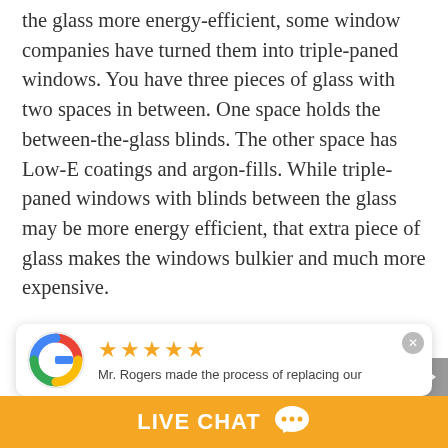the glass more energy-efficient, some window companies have turned them into triple-paned windows. You have three pieces of glass with two spaces in between. One space holds the between-the-glass blinds. The other space has Low-E coatings and argon-fills. While triple-paned windows with blinds between the glass may be more energy efficient, that extra piece of glass makes the windows bulkier and much more expensive.
That's because glass is heavy. To support three
[Figure (other): Google review popup with 5 gold stars and text 'Mr. Rogers made the process of replacing our' and Google logo]
[Figure (other): Live Chat bar at the bottom with orange background, white bold text 'LIVE CHAT' and chat bubble icon]